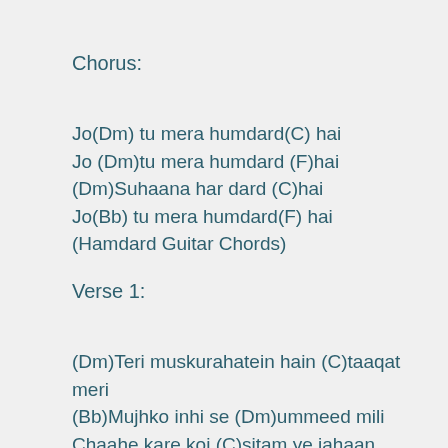Chorus:
Jo(Dm) tu mera humdard(C) hai
Jo (Dm)tu mera humdard (F)hai
(Dm)Suhaana har dard (C)hai
Jo(Bb) tu mera humdard(F) hai
(Hamdard Guitar Chords)
Verse 1:
(Dm)Teri muskurahatein hain (C)taaqat meri
(Bb)Mujhko inhi se (Dm)ummeed mili
Chaahe kare koi (C)sitam ye jahaan